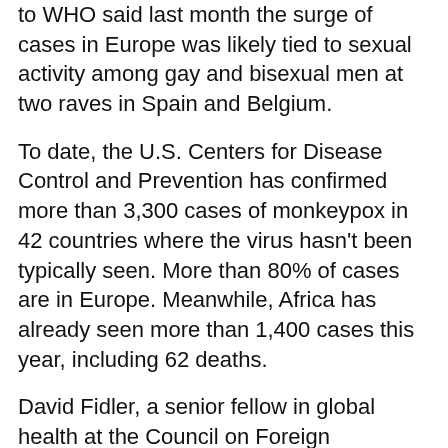to WHO said last month the surge of cases in Europe was likely tied to sexual activity among gay and bisexual men at two raves in Spain and Belgium.
To date, the U.S. Centers for Disease Control and Prevention has confirmed more than 3,300 cases of monkeypox in 42 countries where the virus hasn't been typically seen. More than 80% of cases are in Europe. Meanwhile, Africa has already seen more than 1,400 cases this year, including 62 deaths.
David Fidler, a senior fellow in global health at the Council on Foreign Relations, said WHO's newfound attention to monkeypox amid its spread beyond Africa could inadvertently worsen the divide between rich and poor countries seen during COVID-19.
"There may be legitimate reasons why WHO only raised the alarm when monkeypox spread to rich countries, but to poor countries, that looks like a double standard," Fidler said. He said the global community was still struggling to ensure the world's poor were vaccinated against the coronavirus and that it was unclear if Africans ever wanted monkeypox vaccines, given competing